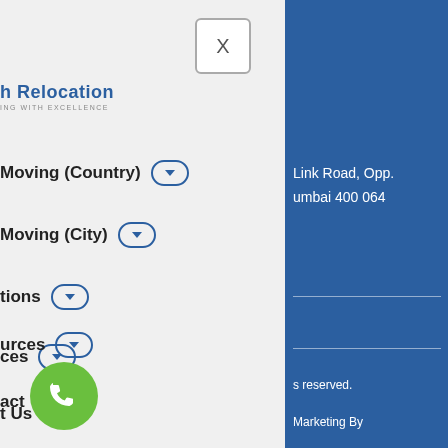[Figure (screenshot): Mobile navigation menu overlay on a website for a relocation company. Left grey panel shows a close button (X), company logo 'h Relocation' with tagline, and nav items: Moving (Country) dropdown, Moving (City) dropdown, tions dropdown, ces dropdown, t Us, urces dropdown, act. A green phone icon button is at bottom left. Right blue panel shows address text 'Link Road, Opp. umbai 400 064', two horizontal lines, 's reserved.', and 'Marketing By'.]